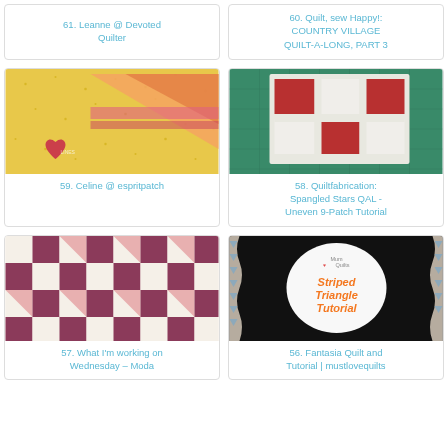61. Leanne @ Devoted Quilter
60. Quilt, sew Happy!: COUNTRY VILLAGE QUILT-A-LONG, PART 3
[Figure (photo): Yellow and pink quilt block with triangle and heart shapes on speckled fabric]
59. Celine @ espritpatch
[Figure (photo): Red and white patchwork quilt block squares on green cutting mat]
58. Quiltfabrication: Spangled Stars QAL - Uneven 9-Patch Tutorial
[Figure (photo): Star pattern quilt block with floral pink and dark red fabric on cream background]
57. What I'm working on Wednesday – Moda
[Figure (photo): Striped Triangle Tutorial graphic with Mum Loves Quilts logo on black background with patterned fabric]
56. Fantasia Quilt and Tutorial | mustlovequilts